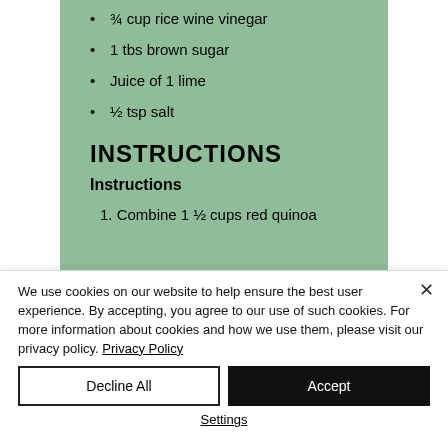¾ cup rice wine vinegar
1 tbs brown sugar
Juice of 1 lime
½ tsp salt
INSTRUCTIONS
Instructions
1. Combine 1 ½ cups red quinoa
We use cookies on our website to help ensure the best user experience. By accepting, you agree to our use of such cookies. For more information about cookies and how we use them, please visit our privacy policy. Privacy Policy
Decline All
Accept
Settings